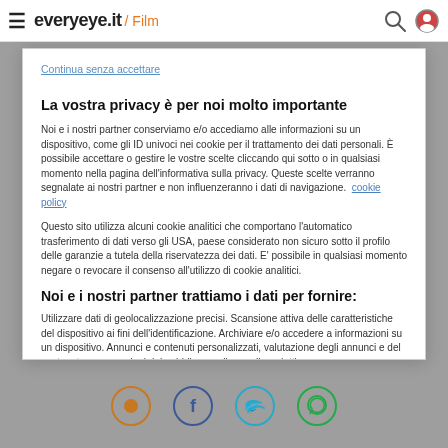everyeye.it / Film
Continua senza accettare
La vostra privacy è per noi molto importante
Noi e i nostri partner conserviamo e/o accediamo alle informazioni su un dispositivo, come gli ID univoci nei cookie per il trattamento dei dati personali. È possibile accettare o gestire le vostre scelte cliccando qui sotto o in qualsiasi momento nella pagina dell'informativa sulla privacy. Queste scelte verranno segnalate ai nostri partner e non influenzeranno i dati di navigazione.  cookie policy
Questo sito utilizza alcuni cookie analitici che comportano l'automatico trasferimento di dati verso gli USA, paese considerato non sicuro sotto il profilo delle garanzie a tutela della riservatezza dei dati. E' possibile in qualsiasi momento negare o revocare il consenso all'utilizzo di cookie analitici.
Noi e i nostri partner trattiamo i dati per fornire:
Utilizzare dati di geolocalizzazione precisi. Scansione attiva delle caratteristiche del dispositivo ai fini dell'identificazione. Archiviare e/o accedere a informazioni su un dispositivo. Annunci e contenuti personalizzati, valutazione degli annunci e del contenuto, osservazioni del pubblico e sviluppo di prodotti.
Elenco dei partner (fornitori)
Personalizza
Accetto